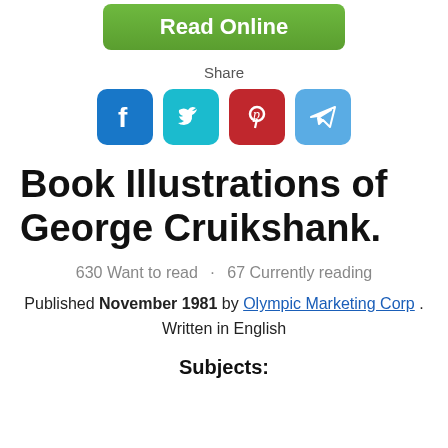[Figure (other): Green 'Read Online' button]
Share
[Figure (other): Social media share icons: Facebook, Twitter, Pinterest, Telegram]
Book Illustrations of George Cruikshank.
630 Want to read · 67 Currently reading
Published November 1981 by Olympic Marketing Corp . Written in English
Subjects: